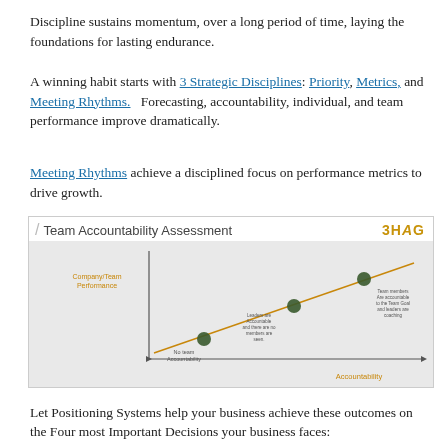Discipline sustains momentum, over a long period of time, laying the foundations for lasting endurance.
A winning habit starts with 3 Strategic Disciplines: Priority, Metrics, and Meeting Rhythms.  Forecasting, accountability, individual, and team performance improve dramatically.
Meeting Rhythms achieve a disciplined focus on performance metrics to drive growth.
[Figure (other): Team Accountability Assessment diagram showing a scatter plot with three points along an upward diagonal line. X-axis labeled 'Accountability', Y-axis labeled 'Company/Team Performance'. Three dots from lower-left to upper-right with labels: 'No team Accountability', 'Leaders are Accountable and there are no members are seen.', 'Team members Are accountable to the Team Goal and leaders are coaching'. Branded with 3HAG logo and Metronome United logo.]
Let Positioning Systems help your business achieve these outcomes on the Four most Important Decisions your business faces: